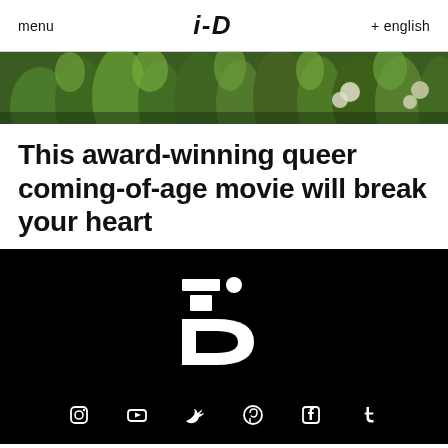menu   i-D   + english
[Figure (photo): Close-up photo of green plants/grass with bokeh background]
This award-winning queer coming-of-age movie will break your heart
[Figure (logo): i-D magazine logo in white on black background]
Social media icons: Instagram, YouTube, Twitter, Pinterest, Facebook, Tumblr